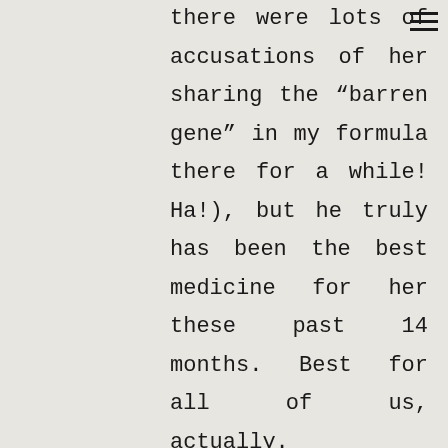there were lots of accusations of her sharing the “barren gene” in my formula there for a while! Ha!), but he truly has been the best medicine for her these past 14 months. Best for all of us, actually.

My sincerest hope is that my baby boy gets to remember my mom, because I never knew it